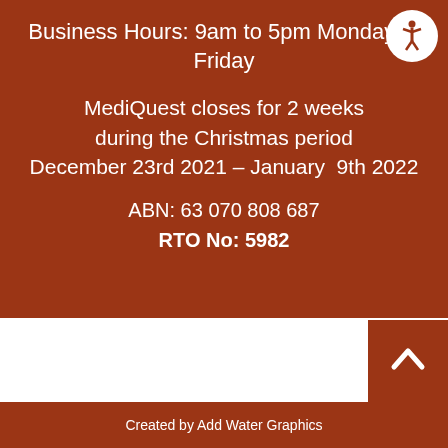Business Hours: 9am to 5pm Monday to Friday
MediQuest closes for 2 weeks during the Christmas period December 23rd 2021 – January 9th 2022
ABN: 63 070 808 687
RTO No: 5982
Created by Add Water Graphics